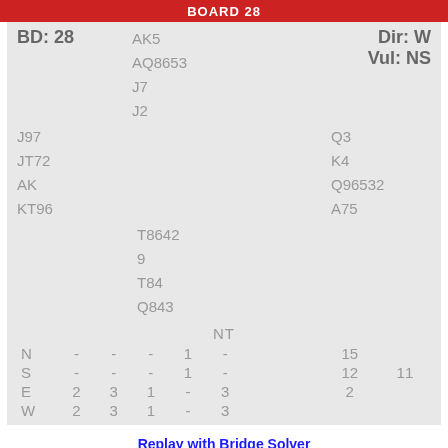BOARD 28
|  | ♠ | ♥ | ♦ | ♣ | NT |  |  |  |
| --- | --- | --- | --- | --- | --- | --- | --- | --- |
| BD: 28 | AK5 | AQ8653 | J7 | J2 |  |  | Dir: W | Vul: NS |
| J97 |  |  |  |  |  | Q3 |  |  |
| JT72 |  |  |  |  |  | K4 |  |  |
| AK |  |  |  |  |  | Q96532 |  |  |
| KT96 |  |  |  |  |  | A75 |  |  |
|  | T8642 | 9 | T84 | Q843 |  |  |  |  |
| N | - | - | - | 1 | - |  | 15 |  |
| S | - | - | - | 1 | - | 12 |  | 11 |
| E | 2 | 3 | 1 | - | 3 |  | 2 |  |
| W | 2 | 3 | 1 | - | 3 |  |  |  |
Replay with Bridge Solver